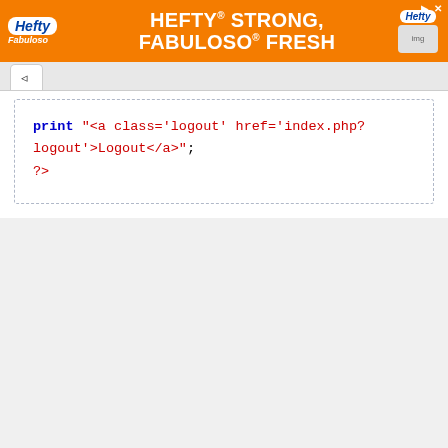[Figure (screenshot): Hefty advertisement banner — orange background with 'HEFTY STRONG, FABULOSO FRESH' text and Hefty/Fabuloso logos]
^
[Figure (screenshot): PHP code snippet in a dashed-border white code box: print "<a class='logout' href='index.php?logout'>Logout</a>"; ?>]